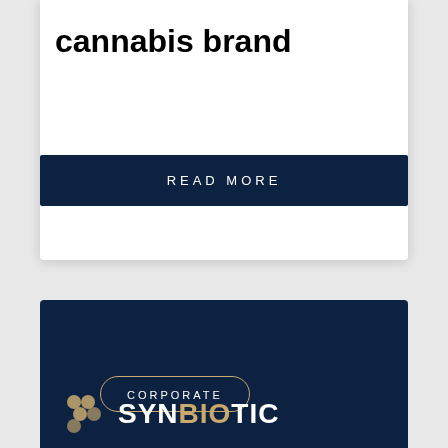cannabis brand
Read More
CORPORATE
[Figure (logo): Synbiotic logo with golden icon and white uppercase text SYNBIOTIC on dark navy background]